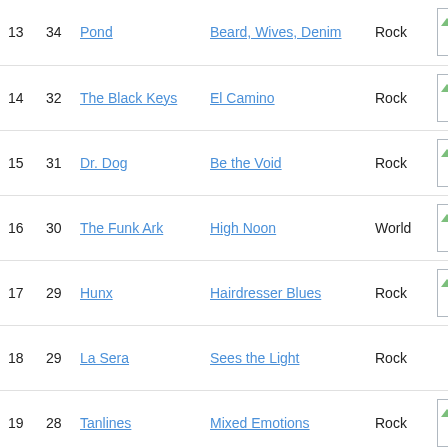| Rank | Pts | Artist | Album | Genre | Cover |
| --- | --- | --- | --- | --- | --- |
| 13 | 34 | Pond | Beard, Wives, Denim | Rock | [image] |
| 14 | 32 | The Black Keys | El Camino | Rock | [image] |
| 15 | 31 | Dr. Dog | Be the Void | Rock | [image] |
| 16 | 30 | The Funk Ark | High Noon | World | [image] |
| 17 | 29 | Hunx | Hairdresser Blues | Rock | [image] |
| 18 | 29 | La Sera | Sees the Light | Rock |  |
| 19 | 28 | Tanlines | Mixed Emotions | Rock | [image] |